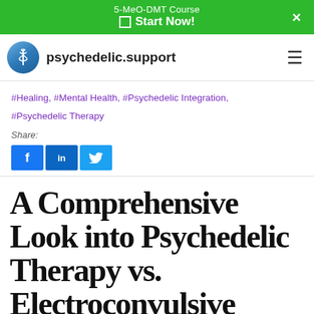5-MeO-DMT Course
☐ Start Now!
[Figure (logo): psychedelic.support website logo with caduceus icon and site name]
#Healing, #Mental Health, #Psychedelic Integration, #Psychedelic Therapy
Share:
[Figure (other): Social share buttons: Facebook, LinkedIn, Twitter]
A Comprehensive Look into Psychedelic Therapy vs. Electroconvulsive